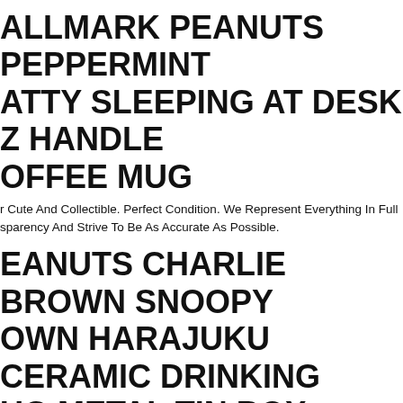HALLMARK PEANUTS PEPPERMINT PATTY SLEEPING AT DESK Z HANDLE COFFEE MUG
r Cute And Collectible. Perfect Condition. We Represent Everything In Full sparency And Strive To Be As Accurate As Possible.
PEANUTS CHARLIE BROWN SNOOPY BROWN HARAJUKU CERAMIC DRINKING MUG METAL TIN BOX
Darling Peanuts Charlie Brown Snoopy Town Harajuku Baseball Ceramic Drinking
ue Glass Snoopy Peanuts Comic Coffee Cup Mug Milk White Charlie Brown Dog s Peanuts Coffee Mug From United Feature Syndicate, Inc., Used And Ingreat ition. This Charlie Brown Cup Features Snoopy Laying On His Dog House Saying : I'm Allergic To Morning!".
or Sale Item! Peanuts Snoopy Ceramic Wine Glass Coffee Mug Cup Set F/s. cute! Snoopy Item I Material Ceramic. It's A Gift Of Japanese Rank so It's Not